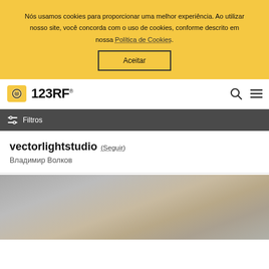Nós usamos cookies para proporcionar uma melhor experiência. Ao utilizar nosso site, você concorda com o uso de cookies, conforme descrito em nossa Política de Cookies.
Aceitar
[Figure (logo): 123RF logo with yellow camera icon and bold 123RF text]
Filtros
vectorlightstudio (Seguir)
Владимир Волков
[Figure (photo): Partial view of a textured grey/beige background image preview]